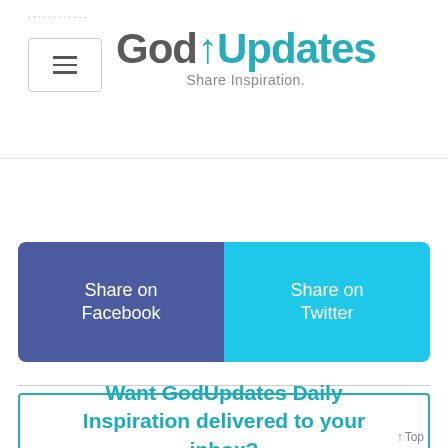GodUpdates — Share Inspiration.
[Figure (screenshot): Share on Facebook and Share on Twitter buttons side by side]
Want GodUpdates Daily Inspiration delivered to your inbox?